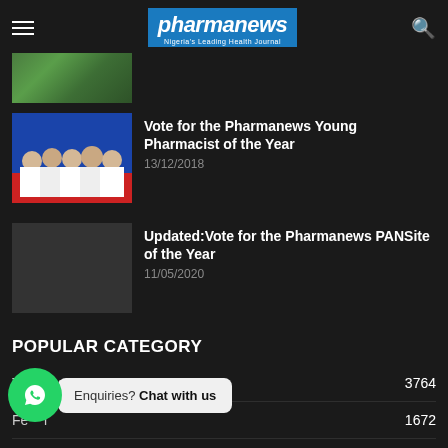pharmanews — Nigeria's Leading Health Journal
[Figure (photo): Green leaves thumbnail image]
[Figure (photo): Group of people in white shirts at an event]
Vote for the Pharmanews Young Pharmacist of the Year
13/12/2018
[Figure (photo): Collage of 6 people portraits]
Updated:Vote for the Pharmanews PANSite of the Year
11/05/2020
POPULAR CATEGORY
Top Stories   3764
Features   1672
PANS Quiz of the Day   748